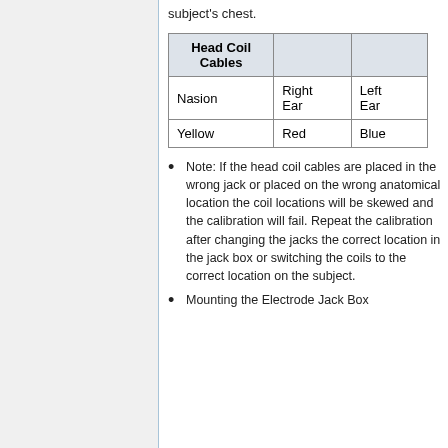subject's chest.
| Head Coil Cables |  |  |
| --- | --- | --- |
| Nasion | Right Ear | Left Ear |
| Yellow | Red | Blue |
Note: If the head coil cables are placed in the wrong jack or placed on the wrong anatomical location the coil locations will be skewed and the calibration will fail. Repeat the calibration after changing the jacks the correct location in the jack box or switching the coils to the correct location on the subject.
Mounting the Electrode Jack Box